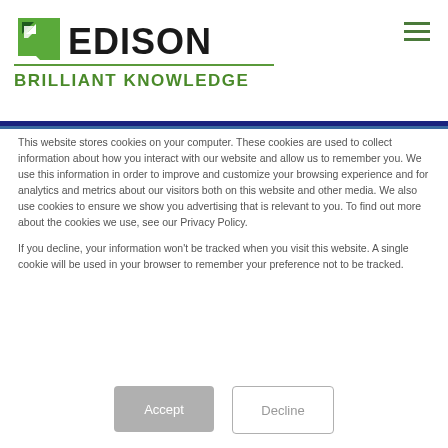[Figure (logo): Edison logo with green geometric diamond/arrow shape and bold EDISON text, with green line and BRILLIANT KNOWLEDGE tagline below]
This website stores cookies on your computer. These cookies are used to collect information about how you interact with our website and allow us to remember you. We use this information in order to improve and customize your browsing experience and for analytics and metrics about our visitors both on this website and other media. We also use cookies to ensure we show you advertising that is relevant to you. To find out more about the cookies we use, see our Privacy Policy.
If you decline, your information won't be tracked when you visit this website. A single cookie will be used in your browser to remember your preference not to be tracked.
Accept | Decline